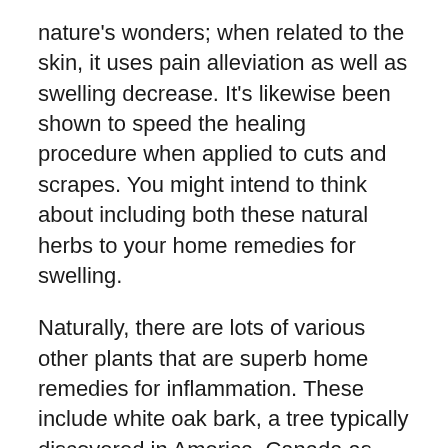nature's wonders; when related to the skin, it uses pain alleviation as well as swelling decrease. It's likewise been shown to speed the healing procedure when applied to cuts and scrapes. You might intend to think about including both these natural herbs to your home remedies for swelling.
Naturally, there are lots of various other plants that are superb home remedies for inflammation. These include white oak bark, a tree typically discovered in America, Canada as well as some parts of Europe; marjoram, citrus varieties native to Mediterranean areas; dandelion origins, a seasonal vine that's ideal for drying out fallen leaves as well as making natural teas; basil, a favorite natural herb among cooks